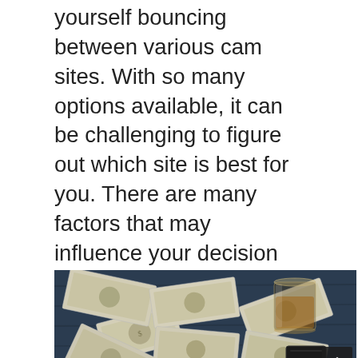yourself bouncing between various cam sites. With so many options available, it can be challenging to figure out which site is best for you. There are many factors that may influence your decision when deciding on the best site for you, including payment structures, audience demographics, and more. In this section, we'll compare two major cam sites: Xcams and Cam4; highlighting some of their pros and cons as well as what makes each great in its own way.
[Figure (photo): Overhead photo of scattered US dollar bills and a whiskey glass on a dark blue wooden surface, with a small dark box/wallet in the bottom right area.]